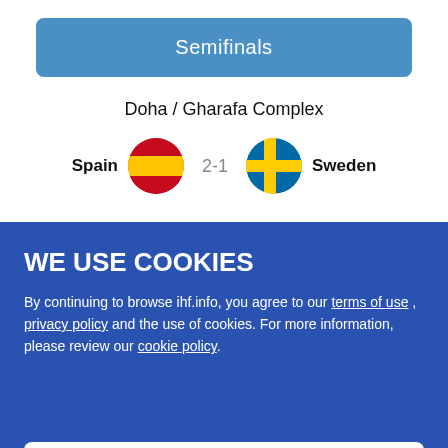Semifinals
Doha / Gharafa Complex
[Figure (infographic): Spain vs Sweden match result: Spain (flag circle) 2-1 Sweden (flag circle)]
WE USE COOKIES
By continuing to browse ihf.info, you agree to our terms of use , privacy policy and the use of cookies. For more information, please review our cookie policy.
✔ I Accept